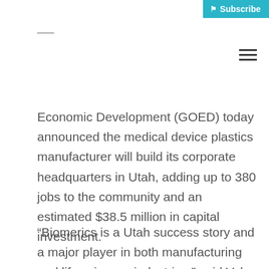Subscribe
Economic Development (GOED) today announced the medical device plastics manufacturer will build its corporate headquarters in Utah, adding up to 380 jobs to the community and an estimated $38.5 million in capital investment.
“Biomerics is a Utah success story and a major player in both manufacturing and life sciences industries,” said Val Hale, executive director of GOED. “We are grateful for their commitment to support the continued growth of the…